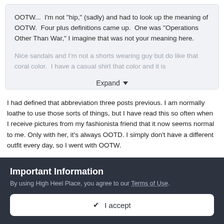OOTW...  I'm not "hip," (sadly) and had to look up the meaning of OOTW.  Four plus definitions came up.  One was "Operations Other Than War," I imagine that was not your meaning here.
Nice sandals and I'm not a shorts wearing guy but do like that coral color.  I have a casual shirt that color and it is
Expand
I had defined that abbreviation three posts previous. I am normally loathe to use those sorts of things, but I have read this so often when I receive pictures from my fashionista friend that it now seems normal to me. Only with her, it's always OOTD. I simply don't have a different outfit every day, so I went with OOTW.
Important Information
By using High Heel Place, you agree to our Terms of Use.
✓  I accept